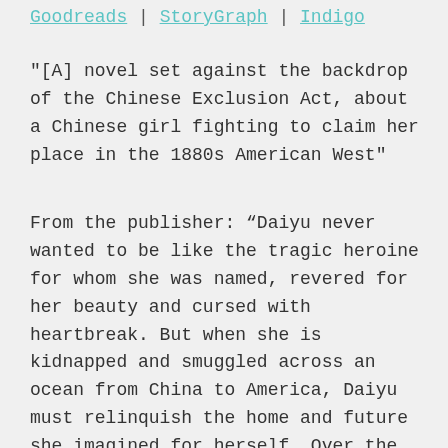Goodreads | StoryGraph | Indigo
"[A] novel set against the backdrop of the Chinese Exclusion Act, about a Chinese girl fighting to claim her place in the 1880s American West"
From the publisher: “Daiyu never wanted to be like the tragic heroine for whom she was named, revered for her beauty and cursed with heartbreak. But when she is kidnapped and smuggled across an ocean from China to America, Daiyu must relinquish the home and future she imagined for herself. Over the years that follow, she is forced to keep reinventing herself to survive. From a calligraphy school, to a San Francisco brothel, to a shop tucked into the Idaho mountains, we follow Daiyu on a desperate quest to outrun the tragedy that chases her. As anti-Chinese sentiment sweeps across the country in a wave of unimaginable violence, Daiyu must draw on each of the